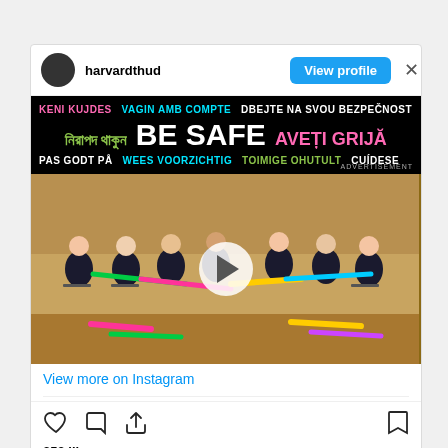[Figure (screenshot): Instagram post from harvardthud showing a group of people seated in a circle on a stage, holding colorful tubes/hula hoops, with a video play button overlay. Above the image is a COVID safety advertisement banner with multilingual text including 'BE SAFE'. Below the video is a 'View more on Instagram' link, action icons (like, comment, share, bookmark), '353 likes', and an 'Add a comment' input field.]